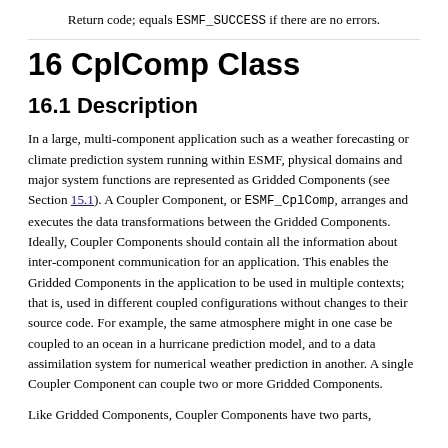Return code; equals ESMF_SUCCESS if there are no errors.
16 CplComp Class
16.1 Description
In a large, multi-component application such as a weather forecasting or climate prediction system running within ESMF, physical domains and major system functions are represented as Gridded Components (see Section 15.1). A Coupler Component, or ESMF_CplComp, arranges and executes the data transformations between the Gridded Components. Ideally, Coupler Components should contain all the information about inter-component communication for an application. This enables the Gridded Components in the application to be used in multiple contexts; that is, used in different coupled configurations without changes to their source code. For example, the same atmosphere might in one case be coupled to an ocean in a hurricane prediction model, and to a data assimilation system for numerical weather prediction in another. A single Coupler Component can couple two or more Gridded Components.
Like Gridded Components, Coupler Components have two parts,